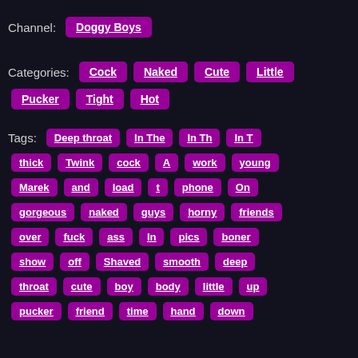Channel: Doggy Boys
Categories: Cock Naked Cute Little Pucker Tight Hot
Tags: Deep throat In The In Th In T thick Twink cock A work young Marek and load t phone On gorgeous naked guys horny friends over fuck ass In pics boner show off Shaved smooth deep throat cute boy body little up pucker friend time hand down